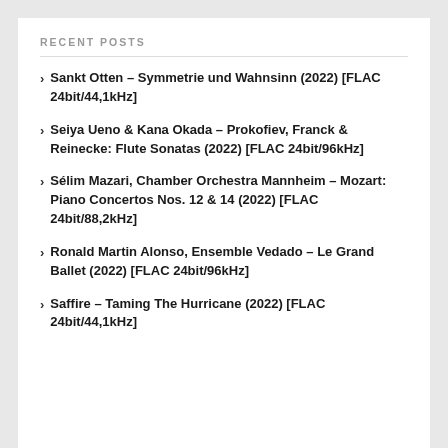RECENT POSTS
Sankt Otten – Symmetrie und Wahnsinn (2022) [FLAC 24bit/44,1kHz]
Seiya Ueno & Kana Okada – Prokofiev, Franck & Reinecke: Flute Sonatas (2022) [FLAC 24bit/96kHz]
Sélim Mazari, Chamber Orchestra Mannheim – Mozart: Piano Concertos Nos. 12 & 14 (2022) [FLAC 24bit/88,2kHz]
Ronald Martin Alonso, Ensemble Vedado – Le Grand Ballet (2022) [FLAC 24bit/96kHz]
Saffire – Taming The Hurricane (2022) [FLAC 24bit/44,1kHz]